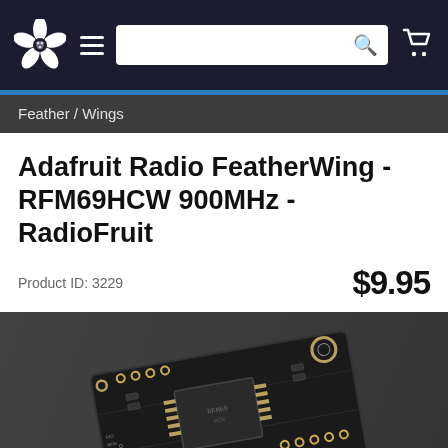Adafruit navigation bar with logo, menu, search, and cart
Feather / Wings
Adafruit Radio FeatherWing - RFM69HCW 900MHz - RadioFruit
Product ID: 3229
$9.95
[Figure (photo): Close-up photo of the Adafruit Radio FeatherWing RFM69HCW 900MHz RadioFruit PCB board on a dark grey background, showing through-hole pads, SMD components, chip, and labeled pin headers.]